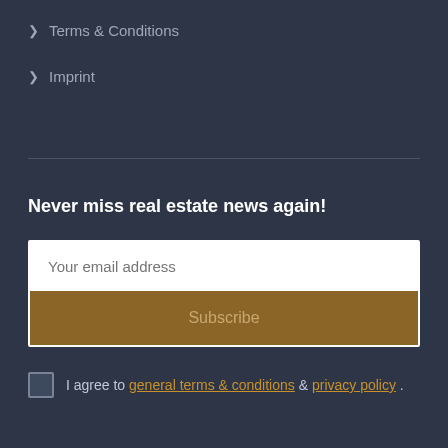> Terms & Conditions
> Imprint
Never miss real estate news again!
Your email address
Subscribe
I agree to general terms & conditions & privacy policy .